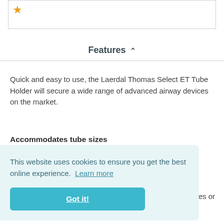[Figure (other): Partial product image box with a gold star icon visible in top-left corner]
Features ^
Quick and easy to use, the Laerdal Thomas Select ET Tube Holder will secure a wide range of advanced airway devices on the market.
Accommodates tube sizes
> 6.5 mm (Inner Diameter) to 42 mm (Outer
This website uses cookies to ensure you get the best online experience. Learn more
Got it!
res or
Suction Port